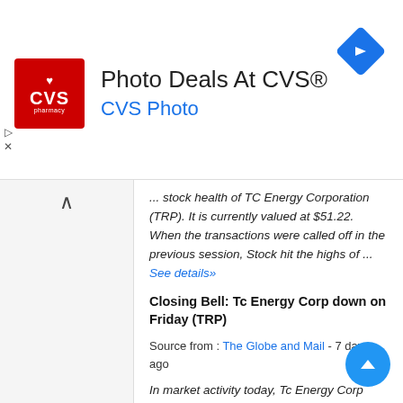[Figure (screenshot): CVS Pharmacy advertisement banner with red logo, 'Photo Deals At CVS®' title, 'CVS Photo' subtitle in blue, and a blue navigation arrow icon on the right]
...stock health of TC Energy Corporation (TRP). It is currently valued at $51.22. When the transactions were called off in the previous session, Stock hit the highs of ... See details»
Closing Bell: Tc Energy Corp down on Friday (TRP)
Source from : The Globe and Mail - 7 days ago
In market activity today, Tc Energy Corp shares opened at $66.12 and closed at $65.74. prices ranged from $65.48 to $66.14. The price ...